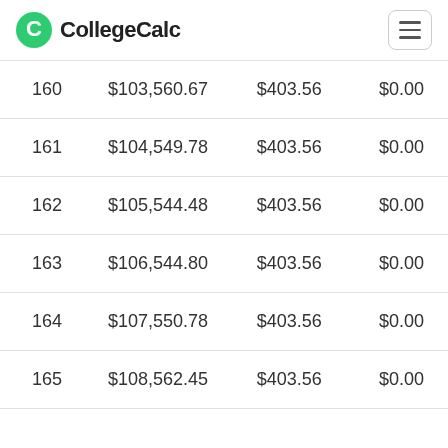CollegeCalc
| 160 | $103,560.67 | $403.56 | $0.00 |
| 161 | $104,549.78 | $403.56 | $0.00 |
| 162 | $105,544.48 | $403.56 | $0.00 |
| 163 | $106,544.80 | $403.56 | $0.00 |
| 164 | $107,550.78 | $403.56 | $0.00 |
| 165 | $108,562.45 | $403.56 | $0.00 |